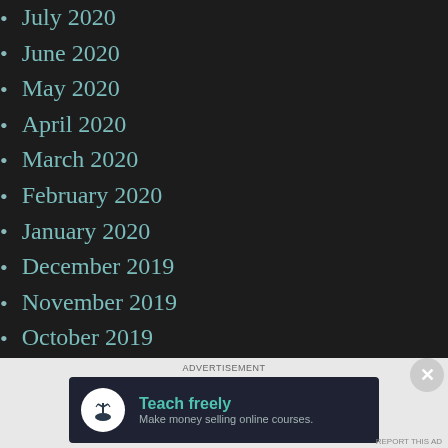July 2020
June 2020
May 2020
April 2020
March 2020
February 2020
January 2020
December 2019
November 2019
October 2019
September 2019
August 2019
July 2019
June 2019
[Figure (infographic): Advertisement banner: circle icon with person/tree logo, text 'Teach freely - Make money selling online courses.']